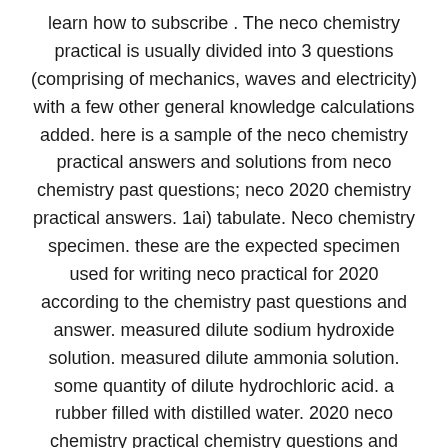learn how to subscribe . The neco chemistry practical is usually divided into 3 questions (comprising of mechanics, waves and electricity) with a few other general knowledge calculations added. here is a sample of the neco chemistry practical answers and solutions from neco chemistry past questions; neco 2020 chemistry practical answers. 1ai) tabulate. Neco chemistry specimen. these are the expected specimen used for writing neco practical for 2020 according to the chemistry past questions and answer. measured dilute sodium hydroxide solution. measured dilute ammonia solution. some quantity of dilute hydrochloric acid. a rubber filled with distilled water. 2020 neco chemistry practical chemistry questions and answers(october 21 2020) education nairaland objective and theory question and answer now posted. real. Recommended: how to check neco